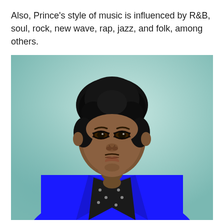Also, Prince's style of music is influenced by R&B, soul, rock, new wave, rap, jazz, and folk, among others.
[Figure (photo): Portrait photo of Prince wearing a bright blue blazer over a black polka-dot shirt, with curly black hair, looking directly at the camera against a teal/light blue gradient background.]